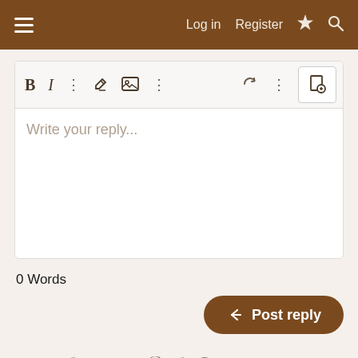≡  Log in  Register  ⚡  🔍
[Figure (screenshot): Forum reply editor with toolbar showing B, I, link, image and more icons, a text area with placeholder 'Write your reply...' and a '0 Words' counter below.]
0 Words
Post reply
Share:
Similar threads
John McCain